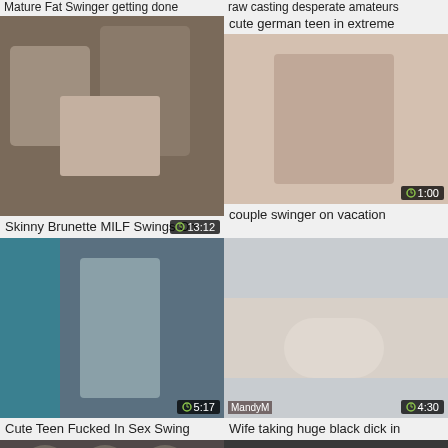Mature Fat Swinger getting done
raw casting desperate amateurs
[Figure (photo): Video thumbnail left top]
cute german teen in extreme
[Figure (photo): Video thumbnail right top]
Skinny Brunette MILF Swings On
couple swinger on vacation
[Figure (photo): Video thumbnail left middle]
[Figure (photo): Video thumbnail right middle]
Cute Teen Fucked In Sex Swing
Wife taking huge black dick in
[Figure (photo): Video thumbnail left bottom]
[Figure (photo): Video thumbnail right bottom]